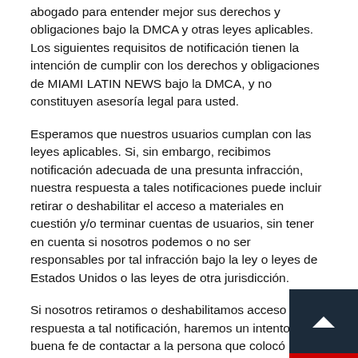abogado para entender mejor sus derechos y obligaciones bajo la DMCA y otras leyes aplicables. Los siguientes requisitos de notificación tienen la intención de cumplir con los derechos y obligaciones de MIAMI LATIN NEWS bajo la DMCA, y no constituyen asesoría legal para usted.
Esperamos que nuestros usuarios cumplan con las leyes aplicables. Si, sin embargo, recibimos notificación adecuada de una presunta infracción, nuestra respuesta a tales notificaciones puede incluir retirar o deshabilitar el acceso a materiales en cuestión y/o terminar cuentas de usuarios, sin tener en cuenta si nosotros podemos o no ser responsables por tal infracción bajo la ley o leyes de Estados Unidos o las leyes de otra jurisdicción.
Si nosotros retiramos o deshabilitamos acceso en respuesta a tal notificación, haremos un intento de buena fe de contactar a la persona que colocó los materiales en cuestión en nuestro Sitio de manera que ellos puedan hacer una contra-notificación bajo la DMCA.
NOTIFICACIÓN DE INFRACCIÓN
Al recibir notificación adecuada de una presunta infracción, MIAMI LATIN NEWS seguirá los procedimientos delineados aquí y en la